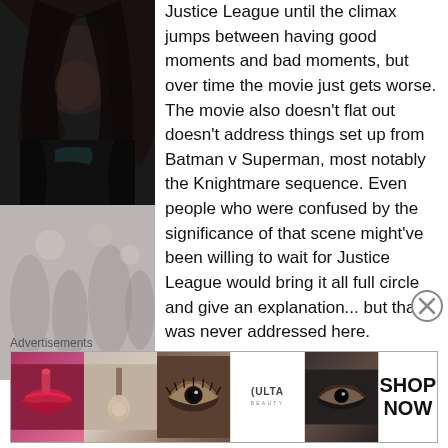[Figure (photo): Dark cinematic photo of a person with long dark hair in a dark coat, appears to be a movie still from Justice League or related DC film]
Justice League until the climax jumps between having good moments and bad moments, but over time the movie just gets worse. The movie also doesn't flat out doesn't address things set up from Batman v Superman, most notably the Knightmare sequence. Even people who were confused by the significance of that scene might've been willing to wait for Justice League would bring it all full circle and give an explanation... but that was never addressed here.
[Figure (illustration): Close circle X button (dismiss/close advertisement button)]
Advertisements
[Figure (photo): Ulta Beauty advertisement banner showing makeup images including lips, brush, eye, Ulta logo, smoky eye, with SHOP NOW button]